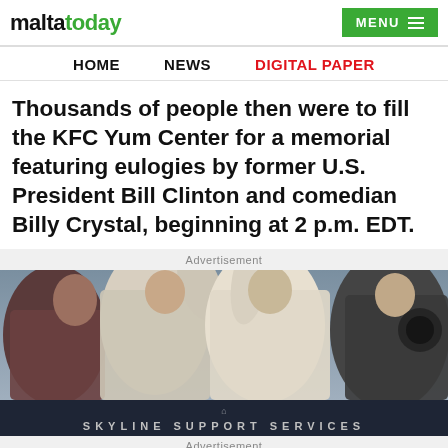maltatoday | MENU
HOME | NEWS | DIGITAL PAPER
Thousands of people then were to fill the KFC Yum Center for a memorial featuring eulogies by former U.S. President Bill Clinton and comedian Billy Crystal, beginning at 2 p.m. EDT.
Advertisement
[Figure (photo): Crowd of people at an event, photographed from a low angle, showing several individuals with hands raised or gesturing]
[Figure (other): Dark navy banner area with small icon and text 'SKYLINE SUPPORT SERVICES']
Advertisement
[Figure (infographic): Game Aggregator by Softswiss advertisement banner with gaming brand logos (Stake, Netent) and a rocket illustration]